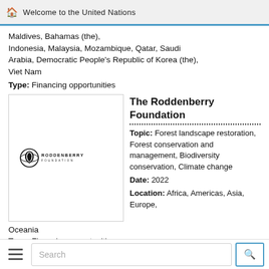Welcome to the United Nations
Maldives, Bahamas (the), Indonesia, Malaysia, Mozambique, Qatar, Saudi Arabia, Democratic People's Republic of Korea (the), Viet Nam
Type: Financing opportunities
[Figure (logo): Roddenberry Foundation logo — stylized face/planet logo with text RODDENBERRY FOUNDATION]
The Roddenberry Foundation
Topic: Forest landscape restoration, Forest conservation and management, Biodiversity conservation, Climate change
Date: 2022
Location: Africa, Americas, Asia, Europe, Oceania
Type: Financing opportunities